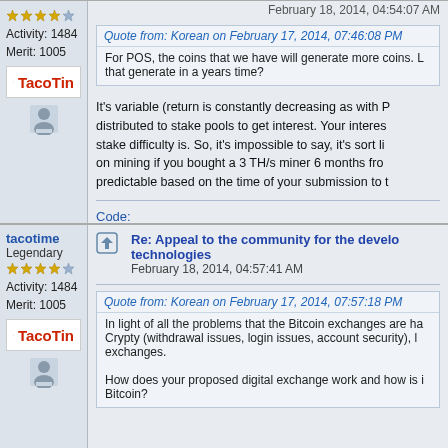February 18, 2014, 04:54:07 AM
Activity: 1484
Merit: 1005
[Figure (logo): TacoTin logo with green cactus icon and red bold text]
Quote from: Korean on February 17, 2014, 07:46:08 PM
For POS, the coins that we have will generate more coins. L... that generate in a years time?
It's variable (return is constantly decreasing as with P... distributed to stake pools to get interest. Your interes... stake difficulty is. So, it's impossible to say, it's sort li... on mining if you bought a 3 TH/s miner 6 months fro... predictable based on the time of your submission to t...
Code:
XMR:  44GBHzv6ZyQdJkjqZje6KLZ3xSyN1hBSFAnL...
tacotime
Legendary
Activity: 1484
Merit: 1005
[Figure (logo): TacoTin logo with green cactus icon and red bold text]
Re: Appeal to the community for the develo... technologies
February 18, 2014, 04:57:41 AM
Quote from: Korean on February 17, 2014, 07:57:18 PM
In light of all the problems that the Bitcoin exchanges are ha... Crypty (withdrawal issues, login issues, account security), l... exchanges.

How does your proposed digital exchange work and how is i... Bitcoin?